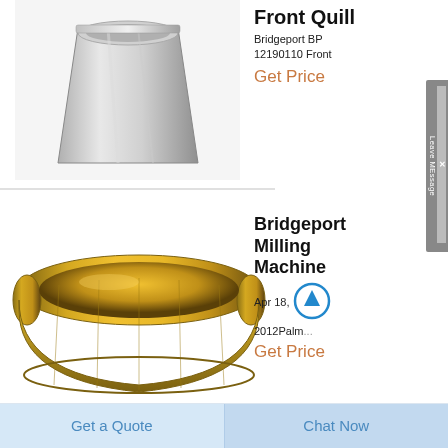Front Quill
Bridgeport BP 12190110 Front
Get Price
[Figure (photo): Silver metallic conical/cup-shaped machine part (front quill) on white background]
Bridgeport Milling Machine
Apr 18, 2012Palm...
Get Price
[Figure (photo): Gold/brass colored large ring or collar machine part (milling machine bearing) on white background]
Bridgeport
[Figure (photo): Partial view of another machine part at bottom of page]
Get a Quote
Chat Now